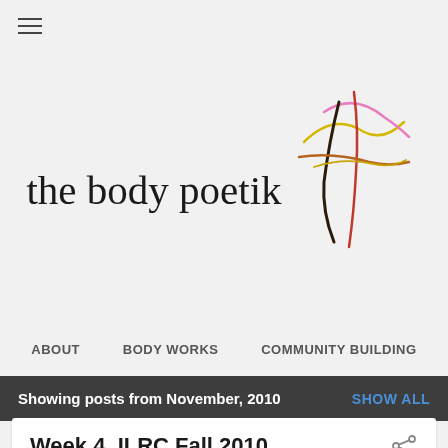[Figure (logo): Hamburger menu icon (three horizontal lines) in top left corner]
[Figure (logo): The body poetik logo: cursive/serif text 'the body poetik' with an abstract colorful line art graphic on the right side featuring interweaving curves in pink, yellow, dark brown/black, red, and orange colors]
ABOUT   BODY WORKS   COMMUNITY BUILDING
Showing posts from November, 2010   SHOW ALL
Week 4, ILRC Fall 2010